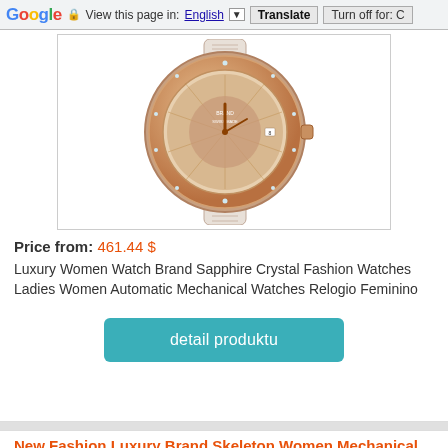Google | View this page in: English [▼] Translate   Turn off for: C
[Figure (photo): A luxury rose-gold women's watch with a decorative dial, sapphire crystal, displayed against a white background inside a bordered image box.]
Price from: 461.44 $
Luxury Women Watch Brand Sapphire Crystal Fashion Watches Ladies Women Automatic Mechanical Watches Relogio Feminino
detail produktu
New Fashion Luxury Brand Skeleton Women Mechanical
[Figure (photo): A red OLEVS-branded watch with a leather strap, partially visible at the bottom of the page.]